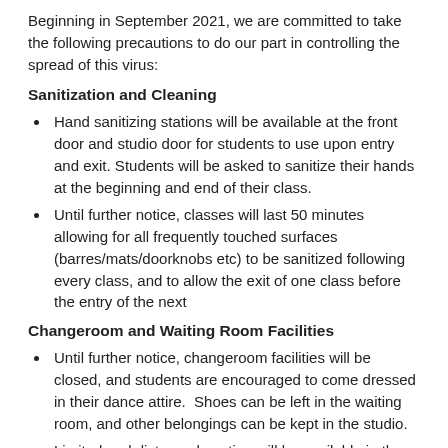Beginning in September 2021, we are committed to take the following precautions to do our part in controlling the spread of this virus:
Sanitization and Cleaning
Hand sanitizing stations will be available at the front door and studio door for students to use upon entry and exit. Students will be asked to sanitize their hands at the beginning and end of their class.
Until further notice, classes will last 50 minutes allowing for all frequently touched surfaces (barres/mats/doorknobs etc) to be sanitized following every class, and to allow the exit of one class before the entry of the next
Changeroom and Waiting Room Facilities
Until further notice, changeroom facilities will be closed, and students are encouraged to come dressed in their dance attire.  Shoes can be left in the waiting room, and other belongings can be kept in the studio.
Limited and distanced seating will be available in the waiting area, however, parents are encouraged to leave the facility.